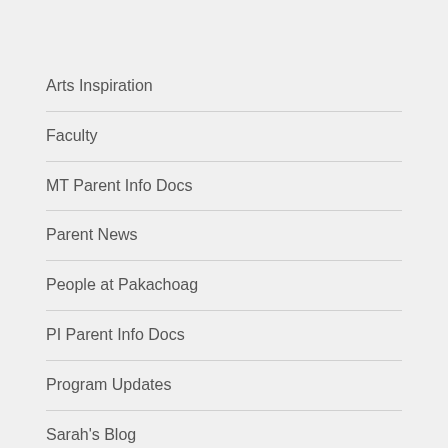Arts Inspiration
Faculty
MT Parent Info Docs
Parent News
People at Pakachoag
PI Parent Info Docs
Program Updates
Sarah's Blog
School News